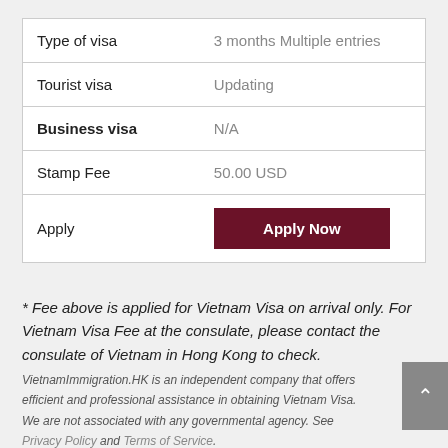|  |  |
| --- | --- |
| Type of visa | 3 months Multiple entries |
| Tourist visa | Updating |
| Business visa | N/A |
| Stamp Fee | 50.00 USD |
| Apply | Apply Now |
* Fee above is applied for Vietnam Visa on arrival only. For Vietnam Visa Fee at the consulate, please contact the consulate of Vietnam in Hong Kong to check.
VietnamImmigration.HK is an independent company that offers efficient and professional assistance in obtaining Vietnam Visa. We are not associated with any governmental agency. See Privacy Policy and Terms of Service.